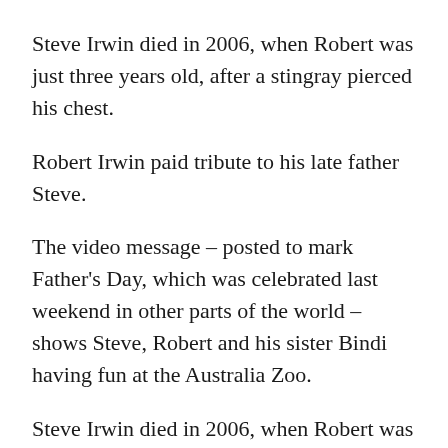Steve Irwin died in 2006, when Robert was just three years old, after a stingray pierced his chest.
Robert Irwin paid tribute to his late father Steve.
The video message – posted to mark Father's Day, which was celebrated last weekend in other parts of the world – shows Steve, Robert and his sister Bindi having fun at the Australia Zoo.
Steve Irwin died in 2006, when Robert was just three years old, after a stingray pierced his chest.
The 18-year-old TikTok video showed father